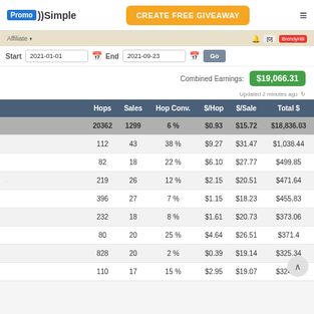PromoSimple | CREATE FREE GIVEAWAY
Affiliate · Updated 2 minutes ago
Start 2021-01-01  End 2021-09-23  Go
Combined Earnings: $19,066.31
|  | Hops | Sales | Hop Conv. | $/Hop | $/Sale | Total $ |
| --- | --- | --- | --- | --- | --- | --- |
|  | 20362 | 1299 | 6 % | $0.93 | $15.72 | $18,836.03 |
|  | 112 | 43 | 38 % | $9.27 | $31.47 | $1,038.44 |
|  | 82 | 18 | 22 % | $6.10 | $27.77 | $499.85 |
|  | 219 | 26 | 12 % | $2.15 | $20.51 | $471.64 |
|  | 396 | 27 | 7 % | $1.15 | $18.23 | $455.83 |
|  | 232 | 18 | 8 % | $1.61 | $20.73 | $373.06 |
|  | 80 | 20 | 25 % | $4.64 | $26.51 | $371.4 |
|  | 828 | 20 | 2 % | $0.39 | $19.14 | $325.34 |
|  | 110 | 17 | 15 % | $2.95 | $19.07 | $324.15 |